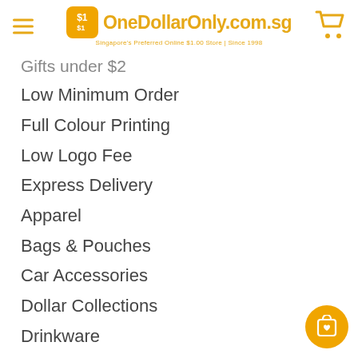OneDollarOnly.com.sg — Singapore's Preferred Online $1.00 Store | Since 1998
Gifts under $2
Low Minimum Order
Full Colour Printing
Low Logo Fee
Express Delivery
Apparel
Bags & Pouches
Car Accessories
Dollar Collections
Drinkware
Electronic & IT Gadgets
Home & Living
Keychain
Office & Stationery
Pen & Writing Instruments
Personal Care & Beauty